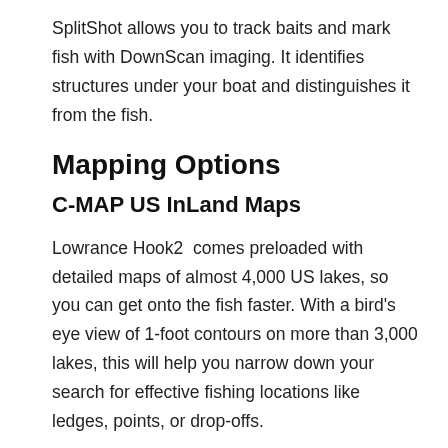SplitShot allows you to track baits and mark fish with DownScan imaging. It identifies structures under your boat and distinguishes it from the fish.
Mapping Options
C-MAP US InLand Maps
Lowrance Hook2 comes preloaded with detailed maps of almost 4,000 US lakes, so you can get onto the fish faster. With a bird's eye view of 1-foot contours on more than 3,000 lakes, this will help you narrow down your search for effective fishing locations like ledges, points, or drop-offs.
Navionics M...